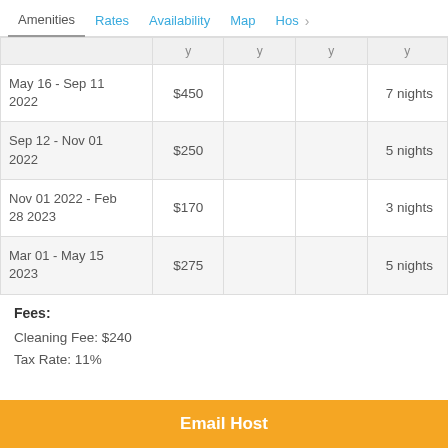Amenities | Rates | Availability | Map | Hos >
|  | y | y | y | y |
| --- | --- | --- | --- | --- |
| May 16 - Sep 11 2022 | $450 |  |  | 7 nights |
| Sep 12 - Nov 01 2022 | $250 |  |  | 5 nights |
| Nov 01 2022 - Feb 28 2023 | $170 |  |  | 3 nights |
| Mar 01 - May 15 2023 | $275 |  |  | 5 nights |
Fees:
Cleaning Fee: $240
Tax Rate: 11%
Email Host